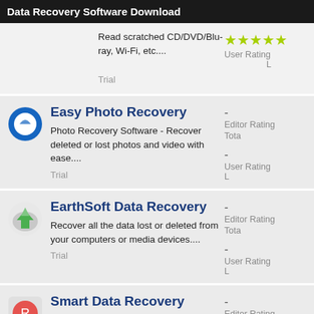Data Recovery Software Download
Read scratched CD/DVD/Blu-ray, Wi-Fi, etc....
Trial
User Rating
Easy Photo Recovery
Photo Recovery Software - Recover deleted or lost photos and video with ease....
Trial
Editor Rating
User Rating
EarthSoft Data Recovery
Recover all the data lost or deleted from your computers or media devices....
Trial
Editor Rating
User Rating
Smart Data Recovery
Editor Rating